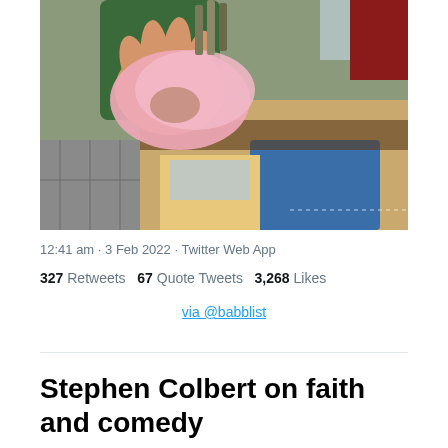[Figure (photo): A hand holding a small bird wrapped in a pink cloth over a cardboard box lined with a blue container and colorful fabric]
12:41 am · 3 Feb 2022 · Twitter Web App
327 Retweets   67 Quote Tweets   3,268 Likes
via @babblist
Stephen Colbert on faith and comedy